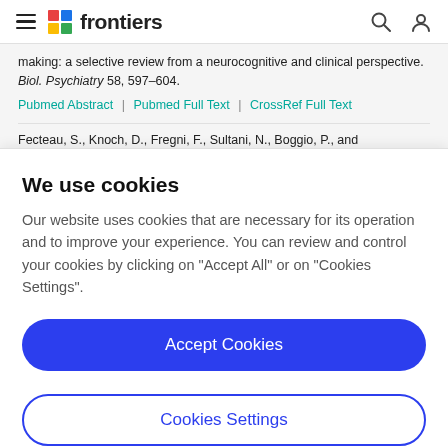frontiers
making: a selective review from a neurocognitive and clinical perspective. Biol. Psychiatry 58, 597–604.
Pubmed Abstract | Pubmed Full Text | CrossRef Full Text
Fecteau, S., Knoch, D., Fregni, F., Sultani, N., Boggio, P., and Pascual-Leone, A. (2007b). Diminishing risk-taking behavior...
We use cookies
Our website uses cookies that are necessary for its operation and to improve your experience. You can review and control your cookies by clicking on "Accept All" or on "Cookies Settings".
Accept Cookies
Cookies Settings